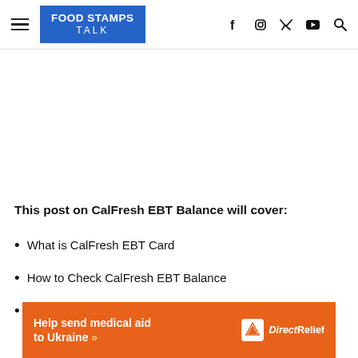FOOD STAMPS TALK
This post on CalFresh EBT Balance will cover:
What is CalFresh EBT Card
How to Check CalFresh EBT Balance
CalFresh EBT Phone Number
[Figure (infographic): Orange advertisement banner: Help send medical aid to Ukraine >> DirectRelief logo]